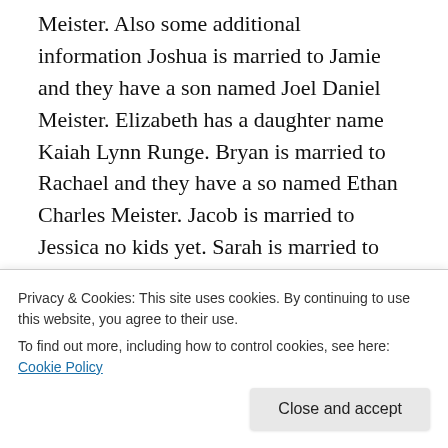Meister. Also some additional information Joshua is married to Jamie and they have a son named Joel Daniel Meister. Elizabeth has a daughter name Kaiah Lynn Runge. Bryan is married to Rachael and they have a so named Ethan Charles Meister. Jacob is married to Jessica no kids yet. Sarah is married to Andy Cashman no kids yet she is now Sarah Cashman. Here is my email address if you would like more information. Jmeister44@yahoo.com I also am very interested in our family history it so much fun
Privacy & Cookies: This site uses cookies. By continuing to use this website, you agree to their use. To find out more, including how to control cookies, see here: Cookie Policy